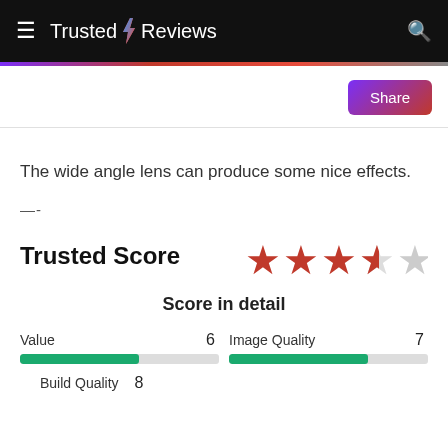Trusted Reviews
The wide angle lens can produce some nice effects.
—-
Trusted Score
Score in detail
| Category | Score |
| --- | --- |
| Value | 6 |
| Image Quality | 7 |
| Build Quality | 8 |